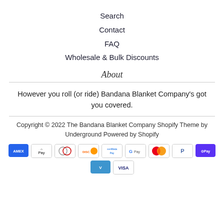Search
Contact
FAQ
Wholesale & Bulk Discounts
About
However you roll (or ride) Bandana Blanket Company's got you covered.
Copyright © 2022 The Bandana Blanket Company Shopify Theme by Underground Powered by Shopify
[Figure (other): Payment method icons: American Express, Apple Pay, Diners Club, Discover, Meta Pay, Google Pay, Mastercard, PayPal, Shop Pay, Venmo, Visa]